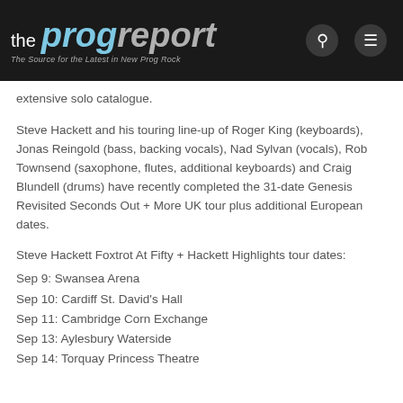the prog report — The Source for the Latest in New Prog Rock
extensive solo catalogue.
Steve Hackett and his touring line-up of Roger King (keyboards), Jonas Reingold (bass, backing vocals), Nad Sylvan (vocals), Rob Townsend (saxophone, flutes, additional keyboards) and Craig Blundell (drums) have recently completed the 31-date Genesis Revisited Seconds Out + More UK tour plus additional European dates.
Steve Hackett Foxtrot At Fifty + Hackett Highlights tour dates:
Sep 9: Swansea Arena
Sep 10: Cardiff St. David's Hall
Sep 11: Cambridge Corn Exchange
Sep 13: Aylesbury Waterside
Sep 14: Torquay Princess Theatre